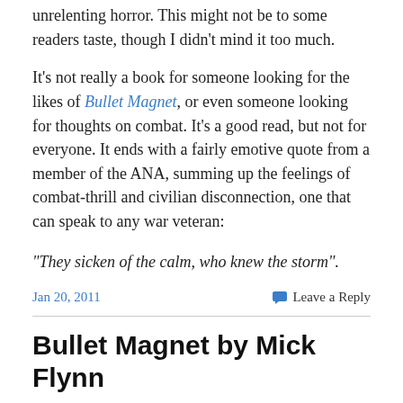unrelenting horror. This might not be to some readers taste, though I didn't mind it too much.
It's not really a book for someone looking for the likes of Bullet Magnet, or even someone looking for thoughts on combat. It's a good read, but not for everyone. It ends with a fairly emotive quote from a member of the ANA, summing up the feelings of combat-thrill and civilian disconnection, one that can speak to any war veteran:
“They sicken of the calm, who knew the storm”.
Jan 20, 2011
Leave a Reply
Bullet Magnet by Mick Flynn